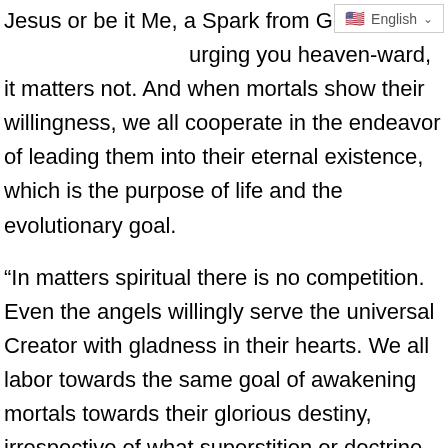Jesus or be it Me, a Spark from God urging you heaven-ward, it matters not. And when mortals show their willingness, we all cooperate in the endeavor of leading them into their eternal existence, which is the purpose of life and the evolutionary goal.
“In matters spiritual there is no competition. Even the angels willingly serve the universal Creator with gladness in their hearts. We all labor towards the same goal of awakening mortals towards their glorious destiny, irrespective of what superstition or doctrine keeps them in bondage.
“Each mortal runs his or her individual free-will race as there is never any coercion. A mere piece of paper, book or dogma, is not meant to hold them to a certain course. Each individual